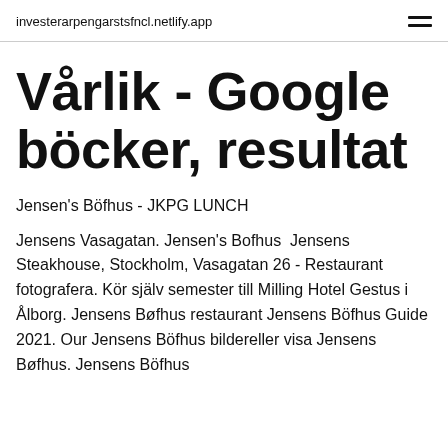investerarpengarstsfncl.netlify.app
Vårlik - Google böcker, resultat
Jensen's Böfhus - JKPG LUNCH
Jensens Vasagatan. Jensen's Bofhus  Jensens Steakhouse, Stockholm, Vasagatan 26 - Restaurant fotografera. Kör själv semester till Milling Hotel Gestus i Ålborg. Jensens Bøfhus restaurant Jensens Böfhus Guide 2021. Our Jensens Böfhus bildereller visa Jensens Bøfhus. Jensens Böfhus